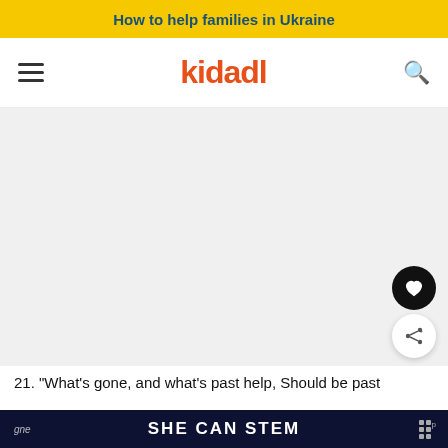How to help families in Ukraine
[Figure (logo): Kidadl website navigation bar with hamburger menu, Kidadl logo in orange, and search icon]
[Figure (photo): Large light gray placeholder image area for an article image]
21. "What's gone, and what's past help, Should be past grief"
SHE CAN STEM